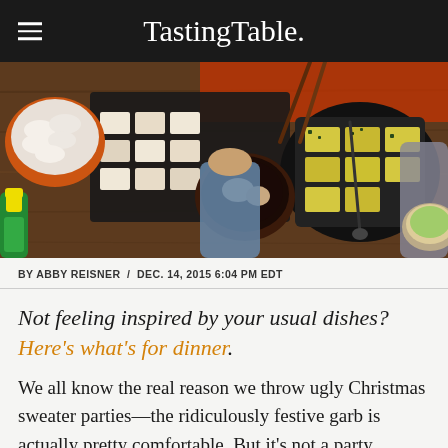TastingTable.
[Figure (photo): Overhead view of people sharing Asian food with chopsticks, including dumplings, sushi rolls, and egg-topped dishes on dark plates on a wooden table.]
BY ABBY REISNER / DEC. 14, 2015 6:04 PM EDT
Not feeling inspired by your usual dishes? Here's what's for dinner.
We all know the real reason we throw ugly Christmas sweater parties—the ridiculously festive garb is actually pretty comfortable. But it's not a party without a punch bowl, a warm